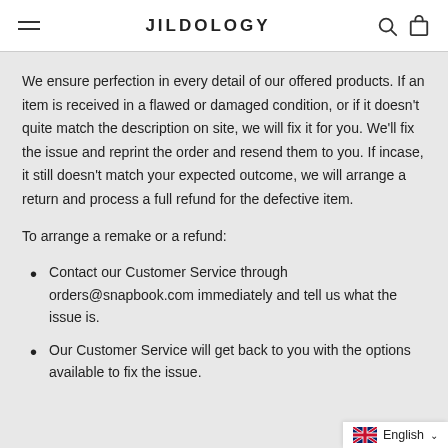JILDOLOGY
We ensure perfection in every detail of our offered products. If an item is received in a flawed or damaged condition, or if it doesn’t quite match the description on site, we will fix it for you. We’ll fix the issue and reprint the order and resend them to you. If incase, it still doesn’t match your expected outcome, we will arrange a return and process a full refund for the defective item.
To arrange a remake or a refund:
Contact our Customer Service through orders@snapbook.com immediately and tell us what the issue is.
Our Customer Service will get back to you with the options available to fix the issue.